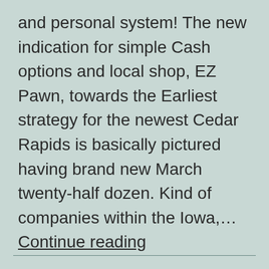and personal system! The new indication for simple Cash options and local shop, EZ Pawn, towards the Earliest strategy for the newest Cedar Rapids is basically pictured having brand new March twenty-half dozen. Kind of companies within the Iowa,… Continue reading
Published August 9, 2022
Categorized as Payday Loans Online